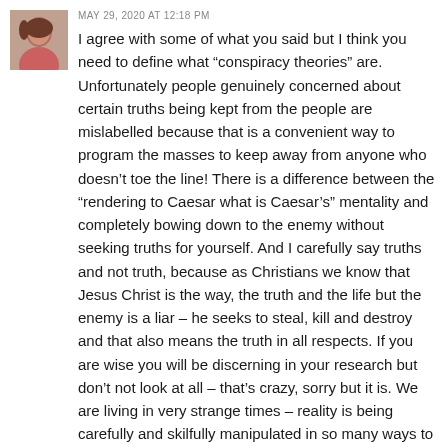[Figure (photo): Small avatar photo of a person in pink/red clothing, cropped to head and shoulders]
MAY 29, 2020 AT 12:18 PM
I agree with some of what you said but I think you need to define what “conspiracy theories” are. Unfortunately people genuinely concerned about certain truths being kept from the people are mislabelled because that is a convenient way to program the masses to keep away from anyone who doesn’t toe the line! There is a difference between the “rendering to Caesar what is Caesar’s” mentality and completely bowing down to the enemy without seeking truths for yourself. And I carefully say truths and not truth, because as Christians we know that Jesus Christ is the way, the truth and the life but the enemy is a liar – he seeks to steal, kill and destroy and that also means the truth in all respects. If you are wise you will be discerning in your research but don’t not look at all – that’s crazy, sorry but it is. We are living in very strange times – reality is being carefully and skilfully manipulated in so many ways to